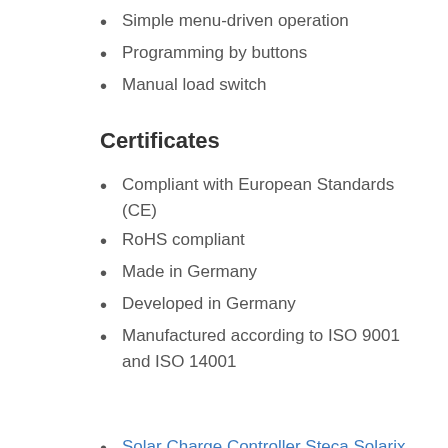Simple menu-driven operation
Programming by buttons
Manual load switch
Certificates
Compliant with European Standards (CE)
RoHS compliant
Made in Germany
Developed in Germany
Manufactured according to ISO 9001 and ISO 14001
Solar Charge Controller Steca Solarix MPPT 3020 Datasheet